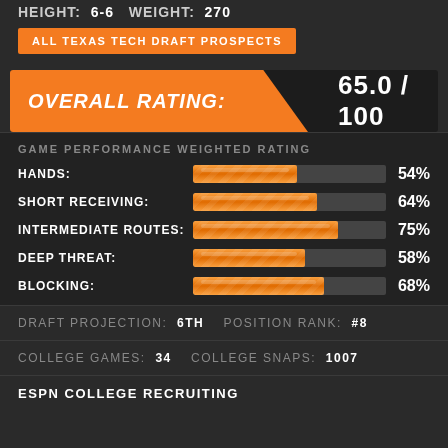HEIGHT: 6-6  WEIGHT: 270
ALL TEXAS TECH DRAFT PROSPECTS
[Figure (infographic): Overall rating banner with orange diagonal split showing 65.0/100]
GAME PERFORMANCE WEIGHTED RATING
[Figure (bar-chart): Game Performance Weighted Rating]
DRAFT PROJECTION: 6TH  POSITION RANK: #8
COLLEGE GAMES: 34  COLLEGE SNAPS: 1007
ESPN COLLEGE RECRUITING